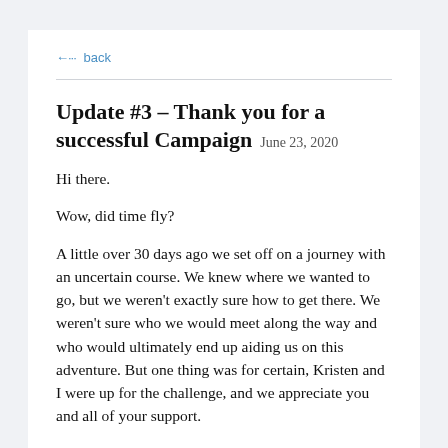← back
Update #3 – Thank you for a successful Campaign  June 23, 2020
Hi there.
Wow, did time fly?
A little over 30 days ago we set off on a journey with an uncertain course. We knew where we wanted to go, but we weren't exactly sure how to get there. We weren't sure who we would meet along the way and who would ultimately end up aiding us on this adventure. But one thing was for certain, Kristen and I were up for the challenge, and we appreciate you and all of your support.
No we didn't sell thousands of copies, get to quit our day